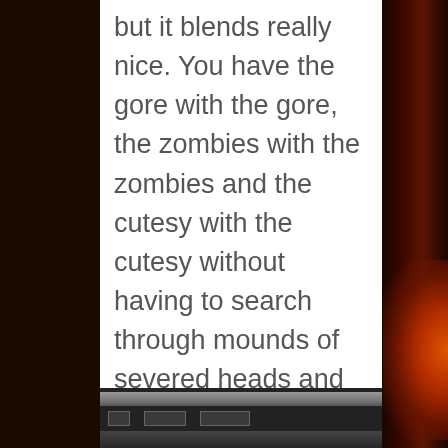but it blends really nice. You have the gore with the gore, the zombies with the zombies and the cutesy with the cutesy without having to search through mounds of severed heads and viscera just to find a bunny in a pumpkin.
[Figure (photo): Partial photo of a store shelf or display, partially visible at bottom of page]